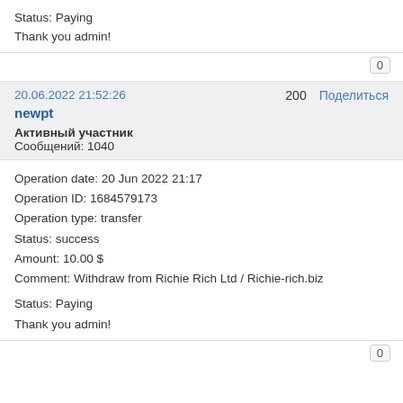Status: Paying
Thank you admin!
0
20.06.2022 21:52:26    200    Поделиться
newpt
Активный участник
Сообщений: 1040
Operation date: 20 Jun 2022 21:17
Operation ID: 1684579173
Operation type: transfer
Status: success
Amount: 10.00 $
Comment: Withdraw from Richie Rich Ltd / Richie-rich.biz

Status: Paying
Thank you admin!
0